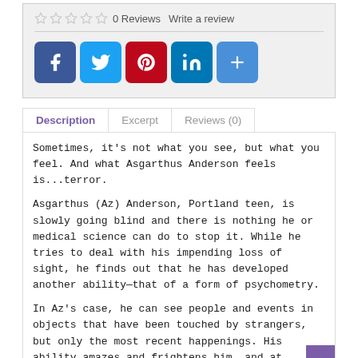[Figure (other): Star rating row showing 5 empty stars, '0 Reviews', and 'Write a review' link]
[Figure (other): Social media sharing icons: Facebook, Twitter, Pinterest, LinkedIn, More (+)]
Description | Excerpt | Reviews (0) tabs
Sometimes, it's not what you see, but what you feel. And what Asgarthus Anderson feels is...terror.
Asgarthus (Az) Anderson, Portland teen, is slowly going blind and there is nothing he or medical science can do to stop it. While he tries to deal with his impending loss of sight, he finds out that he has developed another ability—that of a form of psychometry.
In Az's case, he can see people and events in objects that have been touched by strangers, but only the most recent happenings. His ability amazes and frightens him, and at